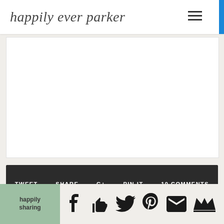happily ever parker
[Figure (screenshot): White blank content area rectangle]
TWEET   SHARE   G+   PIN IT   10 COMMENTS
[Figure (infographic): Bottom social sharing bar with happily sharing label and social icons: Facebook, thumbs up, Twitter, Pinterest, email, crown/Bloglovin]